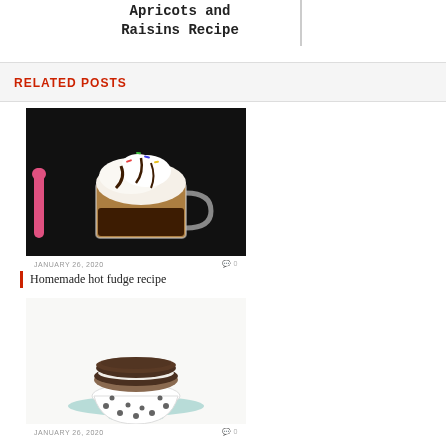Apricots and Raisins Recipe
RELATED POSTS
[Figure (photo): A glass mug of hot chocolate topped with whipped cream and chocolate drizzle with sprinkles, on a dark background with a pink candy cane visible on the left]
JANUARY 26, 2020   0
Homemade hot fudge recipe
[Figure (photo): Two chocolate sandwich cookies stacked on top of a polka-dot cupcake liner on a light blue cake stand, white background]
JANUARY 26, 2020   0